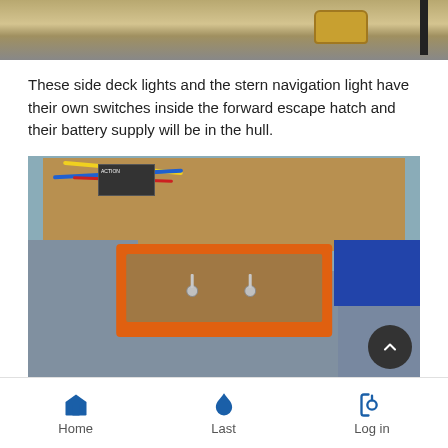[Figure (photo): Top portion of a photo showing a wooden boat interior with a brass/gold fitting visible and a black rod on the right side]
These side deck lights and the stern navigation light have their own switches inside the forward escape hatch and their battery supply will be in the hull.
[Figure (photo): Interior of a model boat showing electronic components and wiring in a wooden compartment at top, gray hull panels, and an orange 3D-printed switch box containing two toggle switches. A dark circular scroll-to-top button is visible in the lower right.]
Home  Last  Log in